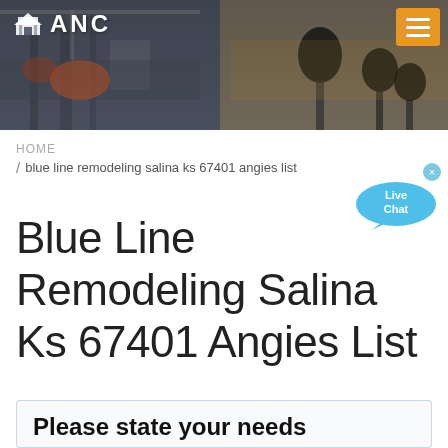[Figure (photo): Hero banner showing a factory/industrial interior on the left and microphones on the right, with dark overlay. ANC logo and hamburger menu overlaid on top.]
HOME
/ blue line remodeling salina ks 67401 angies list
Blue Line Remodeling Salina Ks 67401 Angies List
Please state your needs
Anhui Meilan Intelligent Equipment Manufacturing